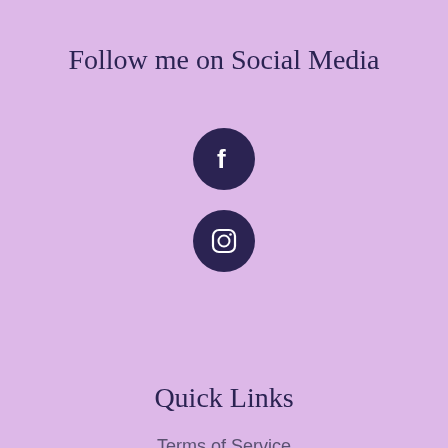Follow me on Social Media
[Figure (logo): Facebook logo icon — white 'f' on dark navy circle]
[Figure (logo): Instagram logo icon — white camera outline on dark navy circle]
Quick Links
Terms of Service
Privacy Policy